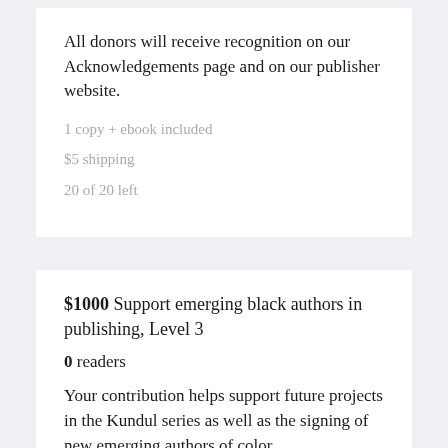All donors will receive recognition on our Acknowledgements page and on our publisher website.
1 copy + ebook included
$5 shipping
20 of 20 left
$1000 Support emerging black authors in publishing, Level 3
0 readers
Your contribution helps support future projects in the Kundul series as well as the signing of new emerging authors of color.